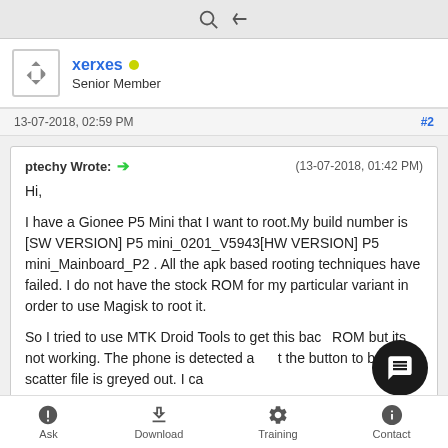toolbar with search and back icons
xerxes • Senior Member
13-07-2018, 02:59 PM  #2
ptechy Wrote: → (13-07-2018, 01:42 PM)
Hi,

I have a Gionee P5 Mini that I want to root.My build number is [SW VERSION] P5 mini_0201_V5943[HW VERSION] P5 mini_Mainboard_P2 . All the apk based rooting techniques have failed. I do not have the stock ROM for my particular variant in order to use Magisk to root it.

So I tried to use MTK Droid Tools to get this back…ROM but its not working. The phone is detected a…t the button to build the scatter file is greyed out. I ca...
Ask  Download  Training  Contact